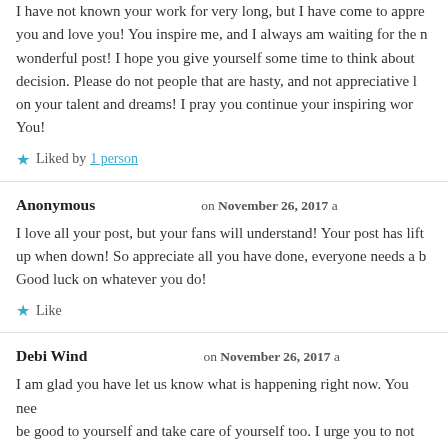I have not known your work for very long, but I have come to appreciate you and love you! You inspire me, and I always am waiting for the next wonderful post! I hope you give yourself some time to think about your decision. Please do not people that are hasty, and not appreciative let on your talent and dreams! I pray you continue your inspiring work! You!
★ Liked by 1 person
Anonymous on November 26, 2017
I love all your post, but your fans will understand! Your post has lifted up when down! So appreciate all you have done, everyone needs a b… Good luck on whatever you do!
★ Like
Debi Wind on November 26, 2017
I am glad you have let us know what is happening right now. You need to be good to yourself and take care of yourself too. I urge you to not make a quick decision. I so enjoy your page. I hope you will continue but do so at your own pace.
★ Like